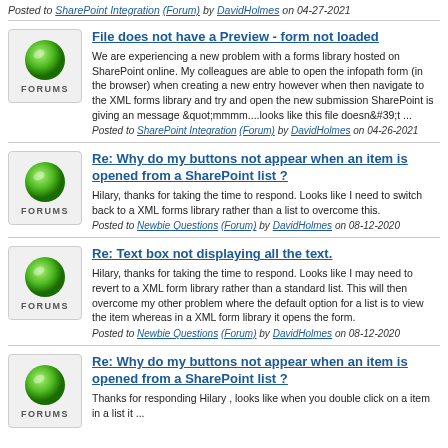Posted to SharePoint Integration (Forum) by DavidHolmes on 04-27-2021
File does not have a Preview - form not loaded
We are experiencing a new problem with a forms library hosted on SharePoint online. My colleagues are able to open the infopath form (in the browser) when creating a new entry however when then navigate to the XML forms library and try and open the new submission SharePoint is giving an message &quot;mmmm....looks like this file doesn&#39;t ...
Posted to SharePoint Integration (Forum) by DavidHolmes on 04-26-2021
Re: Why do my buttons not appear when an item is opened from a SharePoint list ?
Hilary, thanks for taking the time to respond. Looks like I need to switch back to a XML forms library rather than a list to overcome this.
Posted to Newbie Questions (Forum) by DavidHolmes on 08-12-2020
Re: Text box not displaying all the text.
Hilary, thanks for taking the time to respond. Looks like I may need to revert to a XML form library rather than a standard list. This will then overcome my other problem where the default option for a list is to view the item whereas in a XML form library it opens the form.
Posted to Newbie Questions (Forum) by DavidHolmes on 08-12-2020
Re: Why do my buttons not appear when an item is opened from a SharePoint list ?
Thanks for responding Hilary , looks like when you double click on a item in a list it ...